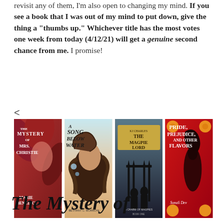revisit any of them, I'm also open to changing my mind. If you see a book that I was out of my mind to put down, give the thing a "thumbs up." Whichever title has the most votes one week from today (4/12/21) will get a genuine second chance from me. I promise!
<
[Figure (photo): Four book covers in a row: The Mystery of Mrs. Christie by Marie Benedict, A Song Below Water by Bethany C. Morrow, The Magpie Lord by KJ Charles, Pride Prejudice and Other Flavors by Sonali Dev]
The Mystery of